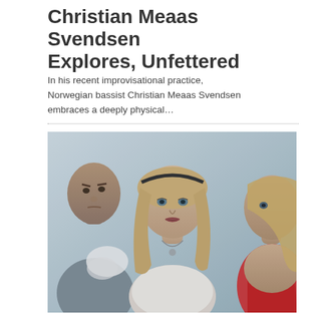Christian Meaas Svendsen Explores, Unfettered
In his recent improvisational practice, Norwegian bassist Christian Meaas Svendsen embraces a deeply physical...
[Figure (photo): A photo of three people against a light background. On the left, a bald man with a serious expression holds something white and fabric-like. In the center, a blonde woman with a headband and necklace looks directly at the camera. On the right, partially cropped, another woman wearing red fabric.]